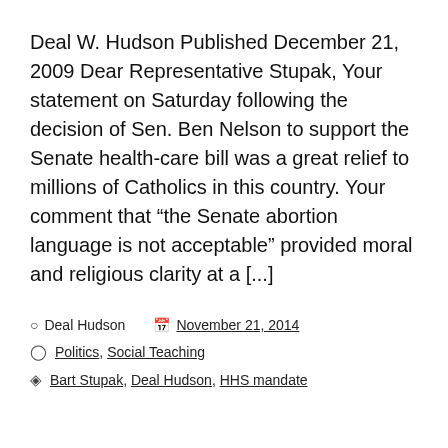Deal W. Hudson Published December 21, 2009 Dear Representative Stupak, Your statement on Saturday following the decision of Sen. Ben Nelson to support the Senate health-care bill was a great relief to millions of Catholics in this country. Your comment that “the Senate abortion language is not acceptable” provided moral and religious clarity at a [...]
Deal Hudson  |  November 21, 2014
Politics, Social Teaching
Bart Stupak, Deal Hudson, HHS mandate